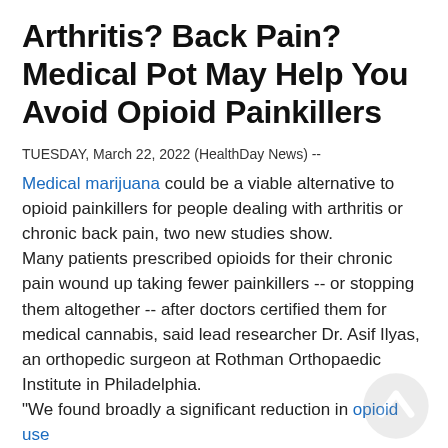Arthritis? Back Pain? Medical Pot May Help You Avoid Opioid Painkillers
TUESDAY, March 22, 2022 (HealthDay News) --
Medical marijuana could be a viable alternative to opioid painkillers for people dealing with arthritis or chronic back pain, two new studies show. Many patients prescribed opioids for their chronic pain wound up taking fewer painkillers -- or stopping them altogether -- after doctors certified them for medical cannabis, said lead researcher Dr. Asif Ilyas, an orthopedic surgeon at Rothman Orthopaedic Institute in Philadelphia. "We found broadly a significant reduction in opioid use